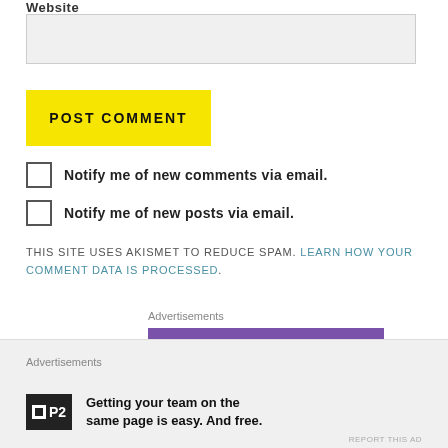Website
[Figure (screenshot): Empty text input field with light gray background]
[Figure (screenshot): Yellow POST COMMENT button with uppercase bold text]
Notify me of new comments via email.
Notify me of new posts via email.
THIS SITE USES AKISMET TO REDUCE SPAM. LEARN HOW YOUR COMMENT DATA IS PROCESSED.
Advertisements
[Figure (illustration): Purple advertisement block]
Advertisements
[Figure (logo): P2 logo - black box with P2 text]
Getting your team on the same page is easy. And free.